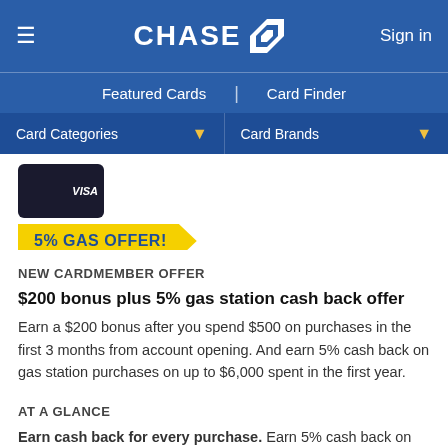CHASE — Sign in | Featured Cards | Card Finder | Card Categories | Card Brands
[Figure (screenshot): Partially visible Chase credit card (dark/black) with VISA branding]
5% GAS OFFER!
NEW CARDMEMBER OFFER
$200 bonus plus 5% gas station cash back offer
Earn a $200 bonus after you spend $500 on purchases in the first 3 months from account opening. And earn 5% cash back on gas station purchases on up to $6,000 spent in the first year.
AT A GLANCE
Earn cash back for every purchase. Earn 5% cash back on travel purchased through Chase, 3% on dining including takeout and drugstores, and 1.5% on all other